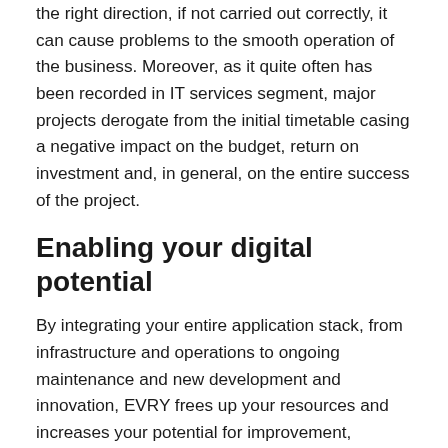the right direction, if not carried out correctly, it can cause problems to the smooth operation of the business. Moreover, as it quite often has been recorded in IT services segment, major projects derogate from the initial timetable casing a negative impact on the budget, return on investment and, in general, on the entire success of the project.
Enabling your digital potential
By integrating your entire application stack, from infrastructure and operations to ongoing maintenance and new development and innovation, EVRY frees up your resources and increases your potential for improvement, modernisation, and innovation.
As a service and cloud integrator, EVRY integrates and consolidates your applications into an efficient solution